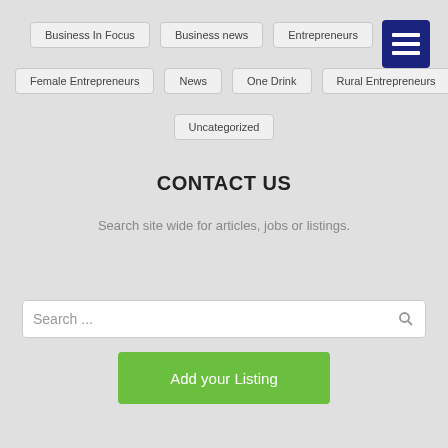Business In Focus
Business news
Entrepreneurs
Female Entrepreneurs
News
One Drink
Rural Entrepreneurs
Uncategorized
CONTACT US
Search site wide for articles, jobs or listings.
Search ...
Add your Listing